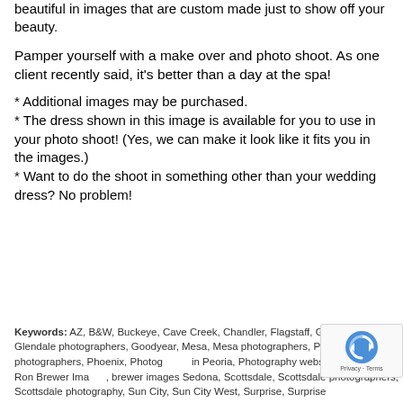beautiful in images that are custom made just to show off your beauty.
Pamper yourself with a make over and photo shoot. As one client recently said, it's better than a day at the spa!
* Additional images may be purchased.
* The dress shown in this image is available for you to use in your photo shoot! (Yes, we can make it look like it fits you in the images.)
* Want to do the shoot in something other than your wedding dress? No problem!
Keywords: AZ, B&W, Buckeye, Cave Creek, Chandler, Flagstaff, Gilbert, Glendale, Glendale photographers, Goodyear, Mesa, Mesa photographers, Peoria, Peoria photographers, Phoenix, Photography in Peoria, Photography website, Professional, Ron Brewer Images, brewer images Sedona, Scottsdale, Scottsdale photographers, Scottsdale photography, Sun City, Sun City West, Surprise, Surprise